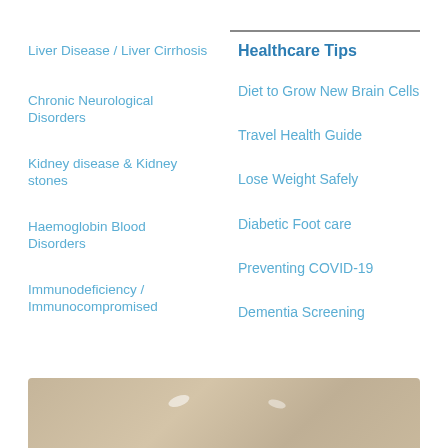Liver Disease / Liver Cirrhosis
Healthcare Tips
Chronic Neurological Disorders
Diet to Grow New Brain Cells
Kidney disease & Kidney stones
Travel Health Guide
Lose Weight Safely
Haemoglobin Blood Disorders
Diabetic Foot care
Immunodeficiency / Immunocompromised
Preventing COVID-19
Dementia Screening
[Figure (photo): Bottom strip showing a beige/tan surface, possibly a desk or table, partially visible at the bottom of the page]